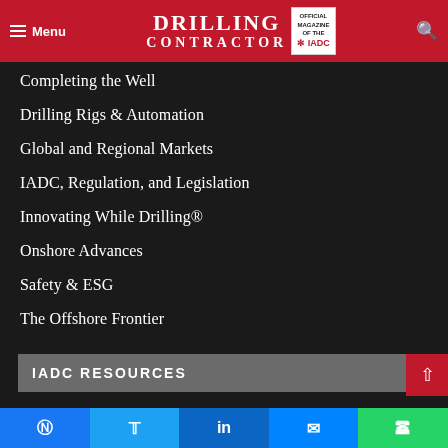Menu | DRILLING CONTRACTOR — Official Magazine of the IADC
Completing the Well
Drilling Rigs & Automation
Global and Regional Markets
IADC, Regulation, and Legislation
Innovating While Drilling®
Onshore Advances
Safety & ESG
The Offshore Frontier
IADC RESOURCES